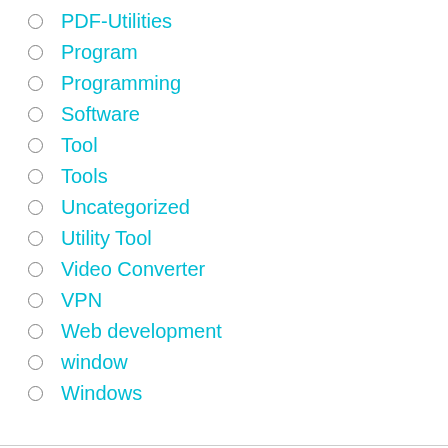PDF-Utilities
Program
Programming
Software
Tool
Tools
Uncategorized
Utility Tool
Video Converter
VPN
Web development
window
Windows